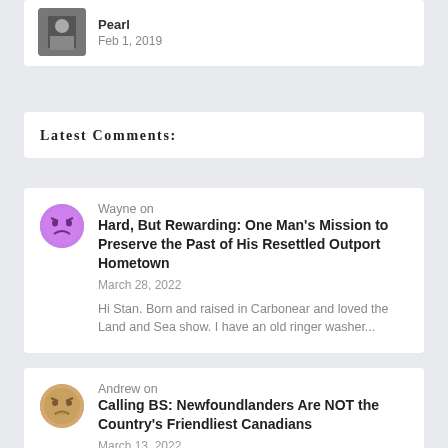Pearl
Feb 1, 2019
Latest Comments:
Wayne on Hard, But Rewarding: One Man's Mission to Preserve the Past of His Resettled Outport Hometown
March 28, 2022
Hi Stan. Born and raised in Carbonear and loved the Land and Sea show. I have an old ringer washer...
Andrew on Calling BS: Newfoundlanders Are NOT the Country's Friendliest Canadians
March 13, 2022
We were confronted by a corner brook man in our own mainlander home in ontario recently. I was told by...